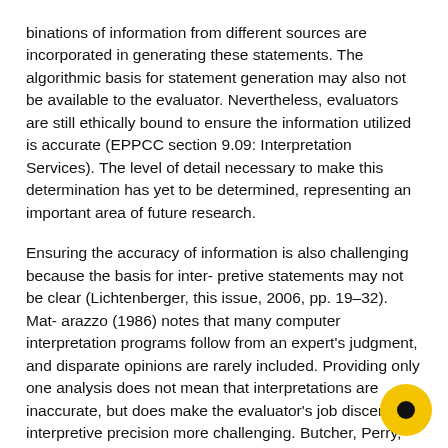binations of information from different sources are incorporated in generating these statements. The algorithmic basis for statement generation may also not be available to the evaluator. Nevertheless, evaluators are still ethically bound to ensure the information utilized is accurate (EPPCC section 9.09: Interpretation Services). The level of detail necessary to make this determination has yet to be determined, representing an important area of future research.
Ensuring the accuracy of information is also challenging because the basis for inter- pretive statements may not be clear (Lichtenberger, this issue, 2006, pp. 19–32). Mat- arazzo (1986) notes that many computer interpretation programs follow from an expert's judgment, and disparate opinions are rarely included. Providing only one analysis does not mean that interpretations are inaccurate, but does make the evaluator's job discerning interpretive precision more challenging. Butcher, Perry, and Atlis (2000) review several studies that address the accuracy of CBTI interpretations. They conclude that most stud- ies supported the accuracy of interpretation, though as much as 50% of interpretative statements will not apply to a specific client. These findings are not universal though (Feldstein et al., 19